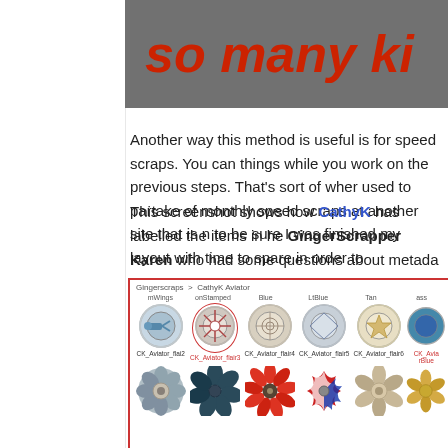so many ki
Another way this method is useful is for speed scraps. You can things while you work on the previous steps. That's sort of wher used to partake of monthly speed scraps at another site that is n to be sure I was finished my layout with time to spare in order to
This screenshot shows how CathyK has labelled the items in he GingerScrapper Karen who had some questions about metada
[Figure (screenshot): Screenshot of Gingerscraps > CathyK Aviator folder showing flair buttons (mWings, onStamped, Blue, LtBlue, Tan, ass) with circular icons labeled CK_Aviator_flair2 through CK_Aviator_flair6, and flower embellishments in the row below.]